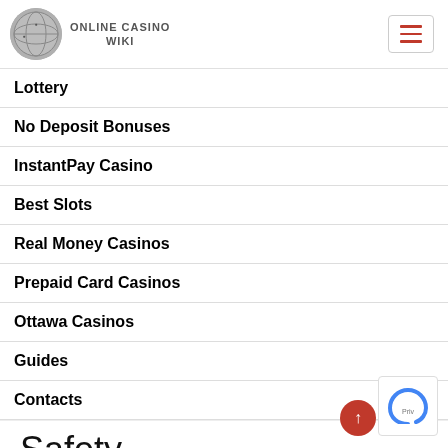ONLINE CASINO WIKI
Lottery
No Deposit Bonuses
InstantPay Casino
Best Slots
Real Money Casinos
Prepaid Card Casinos
Ottawa Casinos
Guides
Contacts
Safety
The first thing to mention is the site's license. T…